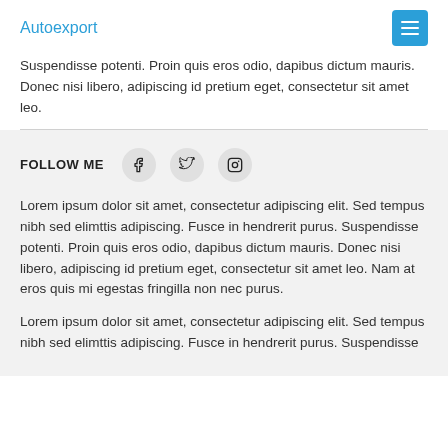Autoexport
Suspendisse potenti. Proin quis eros odio, dapibus dictum mauris. Donec nisi libero, adipiscing id pretium eget, consectetur sit amet leo.
FOLLOW ME
Lorem ipsum dolor sit amet, consectetur adipiscing elit. Sed tempus nibh sed elimttis adipiscing. Fusce in hendrerit purus. Suspendisse potenti. Proin quis eros odio, dapibus dictum mauris. Donec nisi libero, adipiscing id pretium eget, consectetur sit amet leo. Nam at eros quis mi egestas fringilla non nec purus.
Lorem ipsum dolor sit amet, consectetur adipiscing elit. Sed tempus nibh sed elimttis adipiscing. Fusce in hendrerit purus. Suspendisse